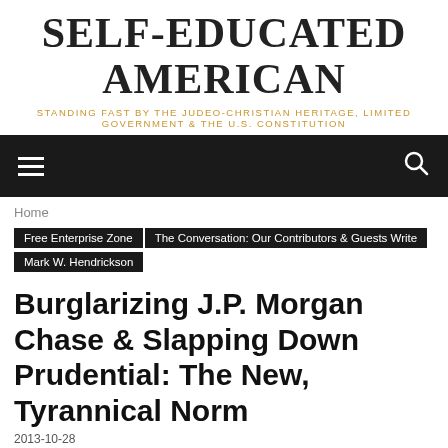SELF-EDUCATED AMERICAN
STANDING FAST BY THE JUDEO-CHRISTIAN HERITAGE, LIMITED GOVERNMENT & THE U.S. CONSTITUTION
Navigation bar with menu and search icons
Home
Free Enterprise Zone
The Conversation: Our Contributors & Guests Write
Mark W. Hendrickson
Burglarizing J.P. Morgan Chase & Slapping Down Prudential: The New, Tyrannical Norm
2013-10-28
Photo Credit: Wikipedia Taken